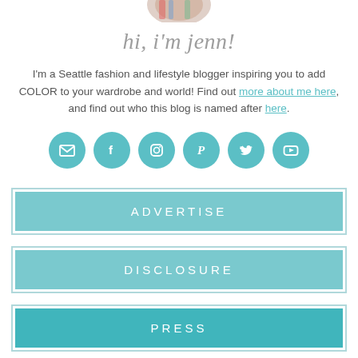[Figure (photo): Partial circular cropped photo at the top, showing a person in colorful clothing]
hi, i'm jenn!
I'm a Seattle fashion and lifestyle blogger inspiring you to add COLOR to your wardrobe and world! Find out more about me here, and find out who this blog is named after here.
[Figure (infographic): Row of six teal circular social media icon buttons: email, Facebook, Instagram, Pinterest, Twitter, YouTube]
ADVERTISE
DISCLOSURE
PRESS